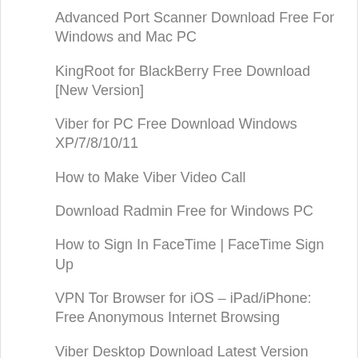Advanced Port Scanner Download Free For Windows and Mac PC
KingRoot for BlackBerry Free Download [New Version]
Viber for PC Free Download Windows XP/7/8/10/11
How to Make Viber Video Call
Download Radmin Free for Windows PC
How to Sign In FaceTime | FaceTime Sign Up
VPN Tor Browser for iOS – iPad/iPhone: Free Anonymous Internet Browsing
Viber Desktop Download Latest Version